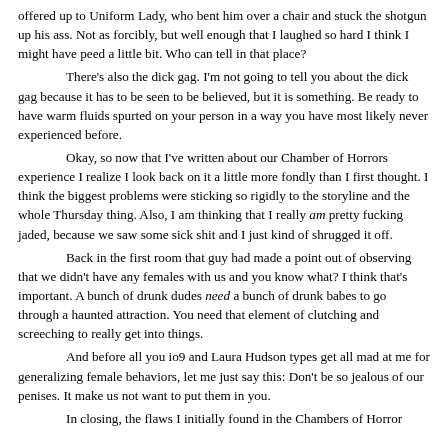offered up to Uniform Lady, who bent him over a chair and stuck the shotgun up his ass. Not as forcibly, but well enough that I laughed so hard I think I might have peed a little bit. Who can tell in that place?

There's also the dick gag. I'm not going to tell you about the dick gag because it has to be seen to be believed, but it is something. Be ready to have warm fluids spurted on your person in a way you have most likely never experienced before.

Okay, so now that I've written about our Chamber of Horrors experience I realize I look back on it a little more fondly than I first thought. I think the biggest problems were sticking so rigidly to the storyline and the whole Thursday thing. Also, I am thinking that I really am pretty fucking jaded, because we saw some sick shit and I just kind of shrugged it off.

Back in the first room that guy had made a point out of observing that we didn't have any females with us and you know what? I think that's important. A bunch of drunk dudes need a bunch of drunk babes to go through a haunted attraction. You need that element of clutching and screeching to really get into things.

And before all you io9 and Laura Hudson types get all mad at me for generalizing female behaviors, let me just say this: Don't be so jealous of our penises. It make us not want to put them in you.

In closing, the flaws I initially found in the Chambers of Horror...